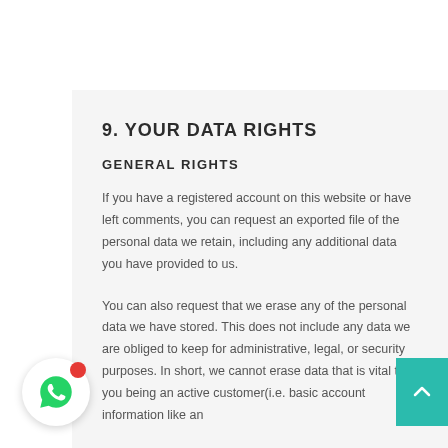9. YOUR DATA RIGHTS
GENERAL RIGHTS
If you have a registered account on this website or have left comments, you can request an exported file of the personal data we retain, including any additional data you have provided to us.
You can also request that we erase any of the personal data we have stored. This does not include any data we are obliged to keep for administrative, legal, or security purposes. In short, we cannot erase data that is vital to you being an active customer(i.e. basic account information like an